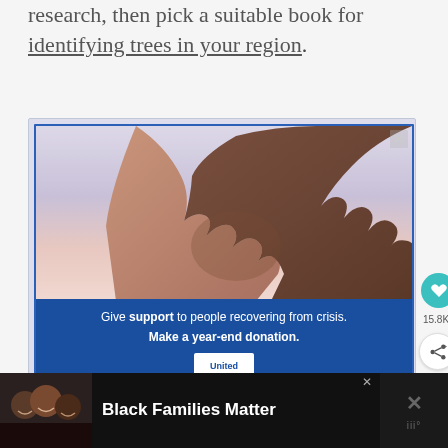research, then pick a suitable book for identifying trees in your region.
[Figure (photo): Advertisement: Two hands clasped together (one lighter, one darker skin tone) against a soft sky background, with text 'Give support to people recovering from crisis. Make a year-end donation.' and United Way logo. Blue bordered ad panel.]
[Figure (infographic): Bottom advertisement bar showing three smiling people with text 'Black Families Matter' on dark background, with close and mute icons on right side.]